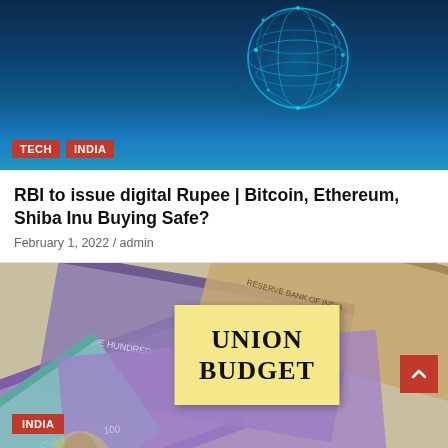[Figure (illustration): Dark blue background with glowing digital globe/network sphere on the right, with TECH and INDIA red tags at the bottom left]
RBI to issue digital Rupee | Bitcoin, Ethereum, Shiba Inu Buying Safe?
February 1, 2022 / admin
[Figure (photo): Photo of Indian Rupee currency notes spread out with a yellow sticky note reading UNION BUDGET in the center, and an INDIA red tag at the bottom left. A red scroll-to-top button is visible on the right side.]